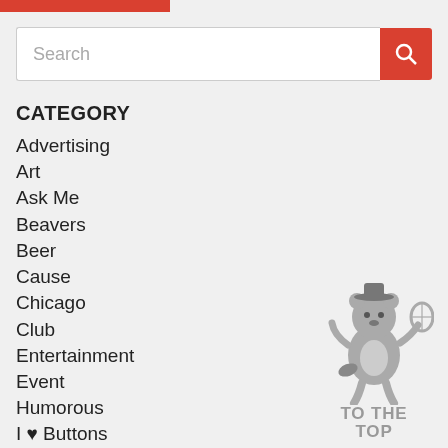Search
CATEGORY
Advertising
Art
Ask Me
Beavers
Beer
Cause
Chicago
Club
Entertainment
Event
Humorous
I ♥ Buttons
Ice Breakers
Innovative
Music
Political
[Figure (illustration): Cartoon beaver mascot holding a tennis racket, with text TO THE TOP below in gray block letters]